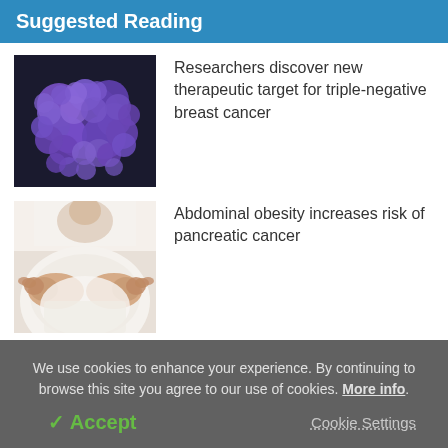Suggested Reading
[Figure (photo): Microscopic image of cancer cells, purple/blue spherical clusters on dark background]
Researchers discover new therapeutic target for triple-negative breast cancer
[Figure (photo): Person in white shirt grasping abdominal fat with both hands, abdominal obesity concept]
Abdominal obesity increases risk of pancreatic cancer
We use cookies to enhance your experience. By continuing to browse this site you agree to our use of cookies. More info.
✓ Accept
Cookie Settings